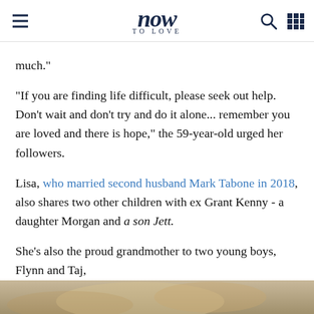now TO LOVE
much."
"If you are finding life difficult, please seek out help. Don't wait and don't try and do it alone... remember you are loved and there is hope," the 59-year-old urged her followers.
Lisa, who married second husband Mark Tabone in 2018, also shares two other children with ex Grant Kenny - a daughter Morgan and a son Jett.
She's also the proud grandmother to two young boys, Flynn and Taj,
[Figure (photo): Bottom strip showing a blurred photo, likely of a person with blonde hair]